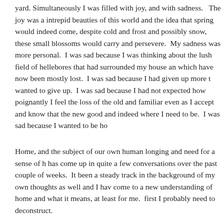yard. Simultaneously I was filled with joy, and with sadness.   The joy was a intrepid beauties of this world and the idea that spring would indeed come, despite cold and frost and possibly snow, these small blossoms would carry and persevere.  My sadness was more personal.  I was sad because I was thinking about the lush field of hellebores that had surrounded my house an which have now been mostly lost.  I was sad because I had given up more t wanted to give up.  I was sad because I had not expected how poignantly I feel the loss of the old and familiar even as I accept and know that the new good and indeed where I need to be.  I was sad because I wanted to be ho
Home, and the subject of our own human longing and need for a sense of h has come up in quite a few conversations over the past couple of weeks.  It been a steady track in the background of my own thoughts as well and I hav come to a new understanding of home and what it means, at least for me.  first I probably need to deconstruct.
Home is one of those complicated terms with layers of meaning.  Home can simply be where one lives.  It can be the people one loves, the place where spent one's childhood, the place that shaped the person we became.  Home be many things.  It can be everything and it can be nothing.  When we meet people we often ask them where they are from.  At least here, in the Southe